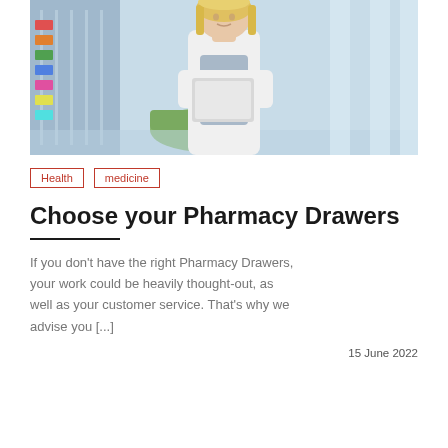[Figure (photo): Woman in white lab coat holding a laptop/tablet, standing in a pharmacy or medical corridor with shelving in the background.]
Health   medicine
Choose your Pharmacy Drawers
If you don't have the right Pharmacy Drawers, your work could be heavily thought-out, as well as your customer service. That's why we advise you [...]
15 June 2022